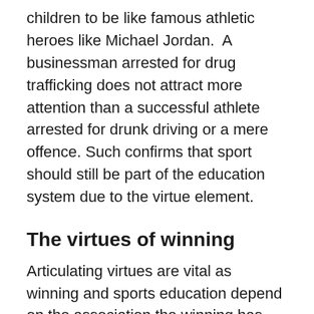children to be like famous athletic heroes like Michael Jordan.  A businessman arrested for drug trafficking does not attract more attention than a successful athlete arrested for drunk driving or a mere offence. Such confirms that sport should still be part of the education system due to the virtue element.
The virtues of winning
Articulating virtues are vital as winning and sports education depend on the association the winning has with virtues. You tend to dissociate with the form of victory that has no